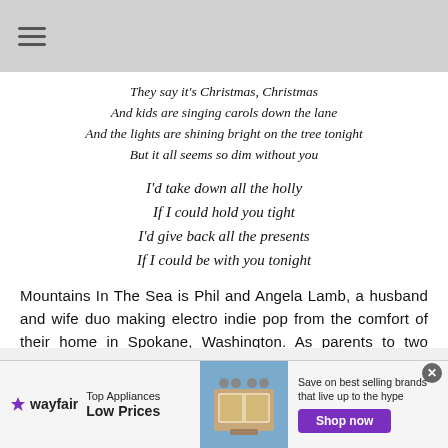They say it's Christmas, Christmas
And kids are singing carols down the lane
And the lights are shining bright on the tree tonight
But it all seems so dim without you
I'd take down all the holly
If I could hold you tight
I'd give back all the presents
If I could be with you tonight
Mountains In The Sea is Phil and Angela Lamb, a husband and wife duo making electro indie pop from the comfort of their home in Spokane, Washington. As parents to two young children, Angela could be recording vocals holding one in
[Figure (infographic): Wayfair advertisement banner: Top Appliances Low Prices, with stove image and Shop now button]